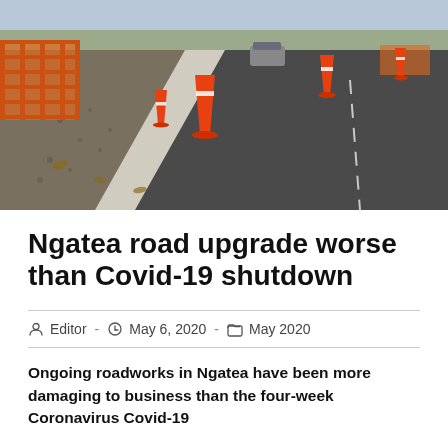[Figure (photo): Road construction site in Ngatea showing gravel, orange traffic cones, orange safety fencing, and a partially paved road surface with no asphalt on the left lane.]
Ngatea road upgrade worse than Covid-19 shutdown
Editor  -  May 6, 2020  -  May 2020
Ongoing roadworks in Ngatea have been more damaging to business than the four-week Coronavirus Covid-19